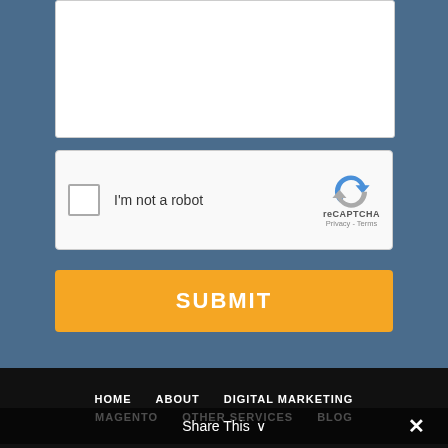[Figure (screenshot): White textarea input box (partially visible, top portion cut off) on a steel-blue background]
[Figure (screenshot): reCAPTCHA widget with checkbox labeled 'I'm not a robot' and Google reCAPTCHA logo with Privacy and Terms links]
SUBMIT
HOME   ABOUT   DIGITAL MARKETING   MAGENTO   OTHER SERVICES   BLOG   CONTACT US   SUPPORT   SITEMAP
Share This